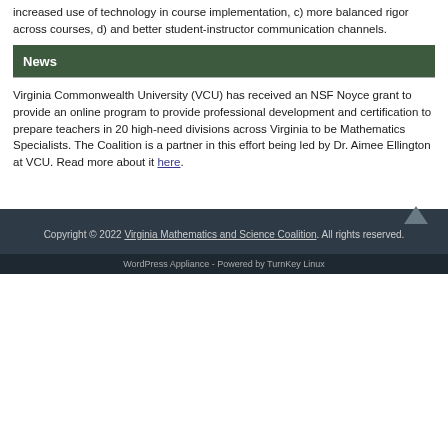increased use of technology in course implementation, c) more balanced rigor across courses, d) and better student-instructor communication channels.
News
Virginia Commonwealth University (VCU) has received an NSF Noyce grant to provide an online program to provide professional development and certification to prepare teachers in 20 high-need divisions across Virginia to be Mathematics Specialists. The Coalition is a partner in this effort being led by Dr. Aimee Ellington at VCU. Read more about it here.
Copyright © 2022 Virginia Mathematics and Science Coalition. All rights reserved.
WordPress Appliance - Powered by TurnKey Linux